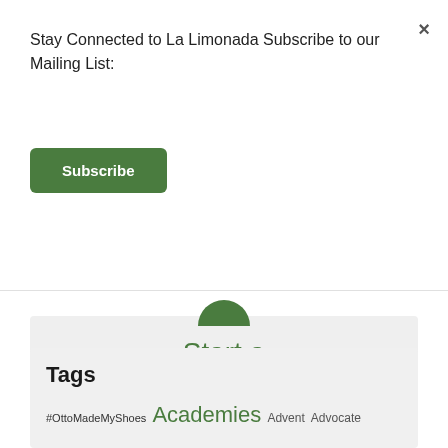Stay Connected to La Limonada Subscribe to our Mailing List:
Subscribe
×
[Figure (other): Green card with partial circle at top and large green text reading 'Start a Lemonade Stand']
Tags
#OttoMadeMyShoes  Academies  Advent  Advocate